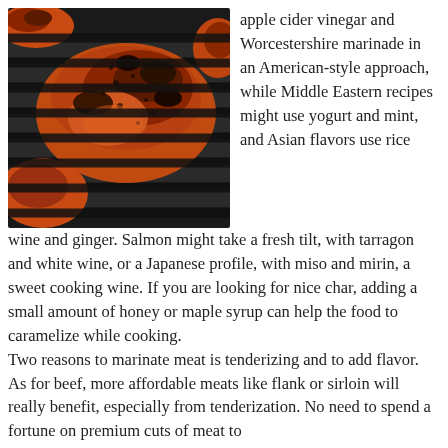[Figure (photo): Grilled chicken pieces on a barbecue grill, showing charred and spiced exterior, photographed from above at an angle.]
apple cider vinegar and Worcestershire marinade in an American-style approach, while Middle Eastern recipes might use yogurt and mint, and Asian flavors use rice wine and ginger. Salmon might take a fresh tilt, with tarragon and white wine, or a Japanese profile, with miso and mirin, a sweet cooking wine. If you are looking for nice char, adding a small amount of honey or maple syrup can help the food to caramelize while cooking.
Two reasons to marinate meat is tenderizing and to add flavor. As for beef, more affordable meats like flank or sirloin will really benefit, especially from tenderization. No need to spend a fortune on premium cuts of meat to